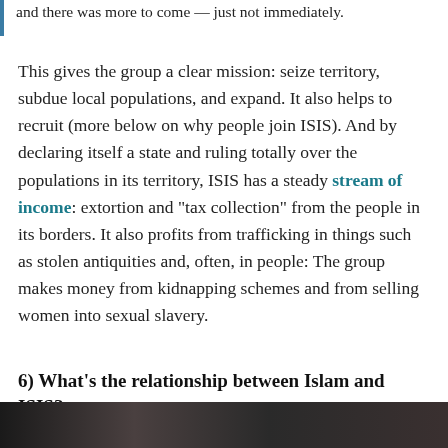and there was more to come — just not immediately.
This gives the group a clear mission: seize territory, subdue local populations, and expand. It also helps to recruit (more below on why people join ISIS). And by declaring itself a state and ruling totally over the populations in its territory, ISIS has a steady stream of income: extortion and "tax collection" from the people in its borders. It also profits from trafficking in things such as stolen antiquities and, often, in people: The group makes money from kidnapping schemes and from selling women into sexual slavery.
6) What's the relationship between Islam and ISIS?
[Figure (photo): Partial photo strip visible at bottom of page, dark toned image]